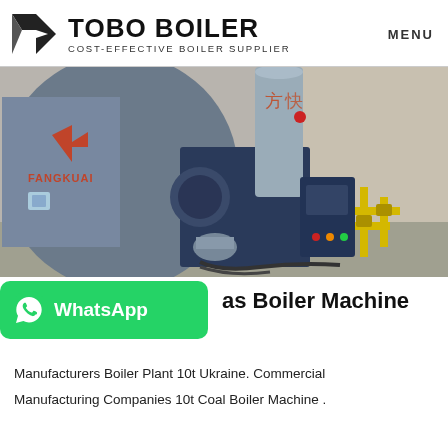TOBO BOILER — COST-EFFECTIVE BOILER SUPPLIER — MENU
[Figure (photo): Industrial gas boiler machine with blue cylindrical body branded FANGKUAI, burner assembly, motor, control panel with switches, and yellow gas piping on the right in an indoor facility.]
...as Boiler Machine
Manufacturers Boiler Plant 10t Ukraine. Commercial Manufacturing Companies 10t Coal Boiler Machine .